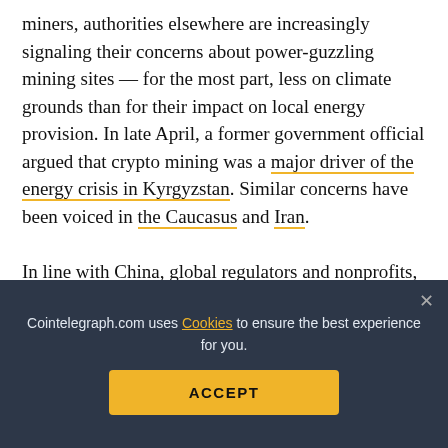miners, authorities elsewhere are increasingly signaling their concerns about power-guzzling mining sites — for the most part, less on climate grounds than for their impact on local energy provision. In late April, a former government official argued that crypto mining was a major driver of the energy crisis in Kyrgyzstan. Similar concerns have been voiced in the Caucasus and Iran.

In line with China, global regulators and nonprofits, Elon Musk this year made a notorious intervention when he ann[ounced that Tesla would no longer accept Bitcoin a]s payment for vehicles due to concerns about the high [energy consumption of Bitcoin (BTC) mining.
[Figure (infographic): Social share bar with icons for Facebook, Twitter, Telegram, Reddit, LinkedIn, WhatsApp, Copy, and scroll-to-top]
Cointelegraph.com uses Cookies to ensure the best experience for you.
ACCEPT